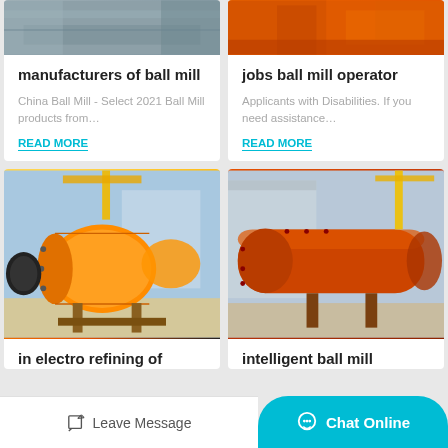[Figure (photo): Partially visible photo of metal machinery/sheet metal at top of card]
manufacturers of ball mill
China Ball Mill - Select 2021 Ball Mill products from…
READ MORE
[Figure (photo): Partially visible photo of orange industrial machinery at top of card]
jobs ball mill operator
Applicants with Disabilities. If you need assistance…
READ MORE
[Figure (photo): Photo of large orange ball mill industrial equipment in factory yard]
in electro refining of
[Figure (photo): Photo of large orange cylindrical ball mill drum in industrial facility]
intelligent ball mill
Leave Message
Chat Online